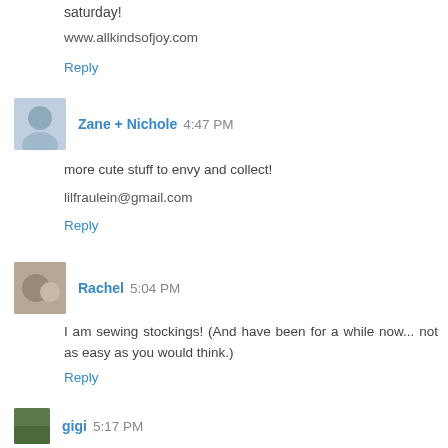saturday!
www.allkindsofjoy.com
Reply
Zane + Nichole  4:47 PM
more cute stuff to envy and collect!
lilfraulein@gmail.com
Reply
Rachel  5:04 PM
I am sewing stockings! (And have been for a while now... not as easy as you would think.)
Reply
gigi  5:17 PM